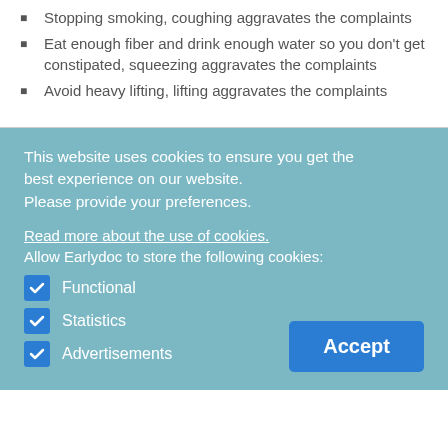Stopping smoking, coughing aggravates the complaints
Eat enough fiber and drink enough water so you don't get constipated, squeezing aggravates the complaints
Avoid heavy lifting, lifting aggravates the complaints
This website uses cookies to ensure you get the best experience on our website.
Please provide your preferences.
Read more about the use of cookies.
Allow Earlydoc to store the following cookies:
Functional
Statistics
Advertisements